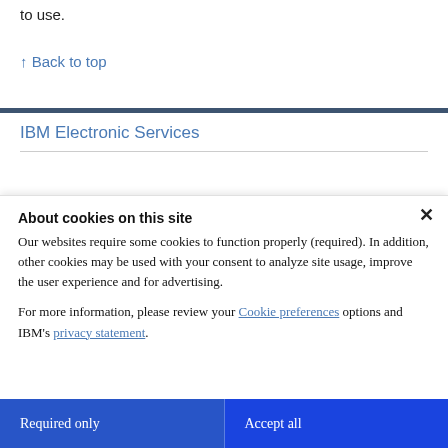to use.
↑ Back to top
IBM Electronic Services
About cookies on this site
Our websites require some cookies to function properly (required). In addition, other cookies may be used with your consent to analyze site usage, improve the user experience and for advertising.
For more information, please review your Cookie preferences options and IBM's privacy statement.
Required only
Accept all